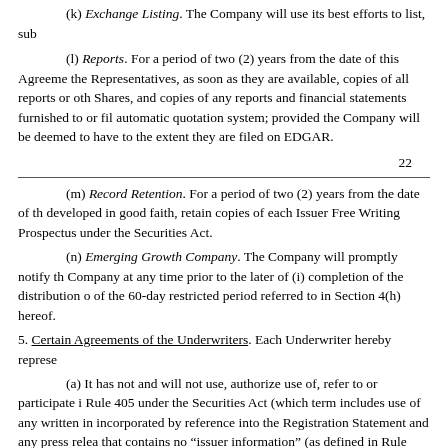(k) Exchange Listing. The Company will use its best efforts to list, sub...
(l) Reports. For a period of two (2) years from the date of this Agreement, the Representatives, as soon as they are available, copies of all reports or other... Shares, and copies of any reports and financial statements furnished to or file... automatic quotation system; provided the Company will be deemed to have... to the extent they are filed on EDGAR.
22
(m) Record Retention. For a period of two (2) years from the date of the... developed in good faith, retain copies of each Issuer Free Writing Prospectus... under the Securities Act.
(n) Emerging Growth Company. The Company will promptly notify the... Company at any time prior to the later of (i) completion of the distribution o... of the 60-day restricted period referred to in Section 4(h) hereof.
5. Certain Agreements of the Underwriters. Each Underwriter hereby represe...
(a) It has not and will not use, authorize use of, refer to or participate in... Rule 405 under the Securities Act (which term includes use of any written in... incorporated by reference into the Registration Statement and any press relea... that contains no "issuer information" (as defined in Rule 433(h)(2) under the... incorporation by reference) in the Preliminary Prospectus or a previously file... Prospectus listed on Annex A or prepared pursuant to Section 3(c) or Section... by the Company), or (iii) any free writing prospectus prepared by such Unde...
(b) It has not and will not, without the prior written consent of the Co...